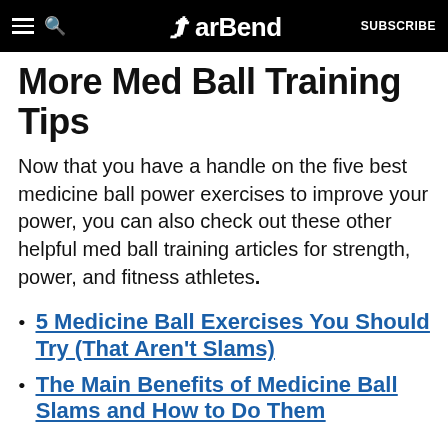BarBend — SUBSCRIBE
More Med Ball Training Tips
Now that you have a handle on the five best medicine ball power exercises to improve your power, you can also check out these other helpful med ball training articles for strength, power, and fitness athletes.
5 Medicine Ball Exercises You Should Try (That Aren't Slams)
The Main Benefits of Medicine Ball Slams and How to Do Them